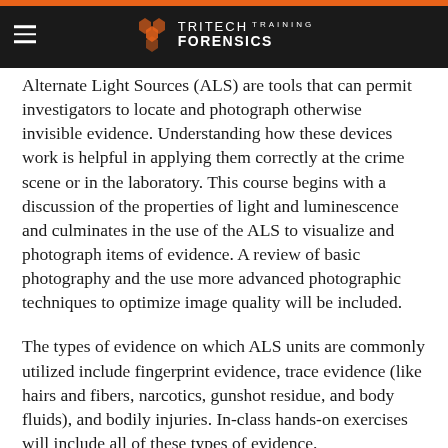TRITECH TRAINING FORENSICS
Alternate Light Sources (ALS) are tools that can permit investigators to locate and photograph otherwise invisible evidence. Understanding how these devices work is helpful in applying them correctly at the crime scene or in the laboratory. This course begins with a discussion of the properties of light and luminescence and culminates in the use of the ALS to visualize and photograph items of evidence. A review of basic photography and the use more advanced photographic techniques to optimize image quality will be included.
The types of evidence on which ALS units are commonly utilized include fingerprint evidence, trace evidence (like hairs and fibers, narcotics, gunshot residue, and body fluids), and bodily injuries. In-class hands-on exercises will include all of these types of evidence.
This course will heavily emphasize instruction using hands-on techniques. The students will photograph realistic